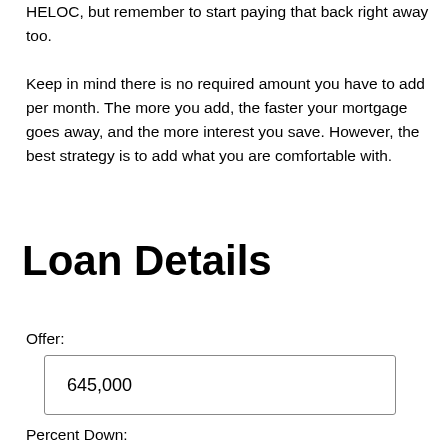HELOC, but remember to start paying that back right away too.
Keep in mind there is no required amount you have to add per month. The more you add, the faster your mortgage goes away, and the more interest you save. However, the best strategy is to add what you are comfortable with.
Loan Details
Offer:
645,000
Percent Down: